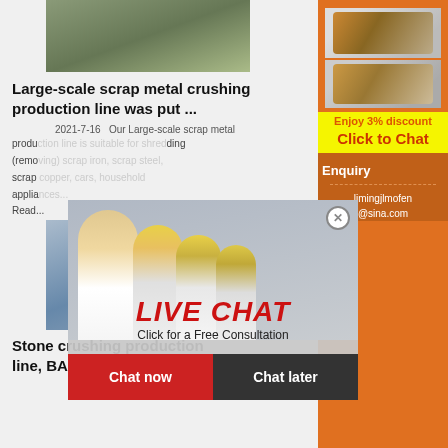[Figure (photo): Mining/crushing equipment outdoors with conveyor belts and yellow machinery]
Large-scale scrap metal crushing production line was put ...
2021-7-16   Our Large-scale scrap metal production line is suitable for shredding (removing) scrap iron, scrap steel, scrap appliances...
Read...
[Figure (photo): Live Chat popup overlay with workers in hard hats, LIVE CHAT label, Chat now and Chat later buttons]
[Figure (photo): Industrial stone crushing production line interior with large cylindrical machinery]
Stone crushing production line, BAILING® Machinery
[Figure (photo): Right sidebar with orange background showing crusher machines, Enjoy 3% discount, Click to Chat, Enquiry, limingjlmofen@sina.com]